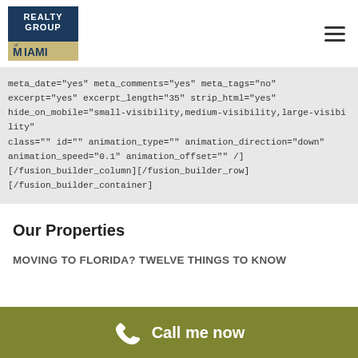[Figure (logo): Realty Group of Miami logo — dark navy square with REALTY GROUP in white and MIAMI in olive/gold style below]
meta_date="yes" meta_comments="yes" meta_tags="no" excerpt="yes" excerpt_length="35" strip_html="yes" hide_on_mobile="small-visibility,medium-visibility,large-visibility" class="" id="" animation_type="" animation_direction="down" animation_speed="0.1" animation_offset="" /]
[/fusion_builder_column][/fusion_builder_row]
[/fusion_builder_container]
Our Properties
MOVING TO FLORIDA? TWELVE THINGS TO KNOW
Call me now